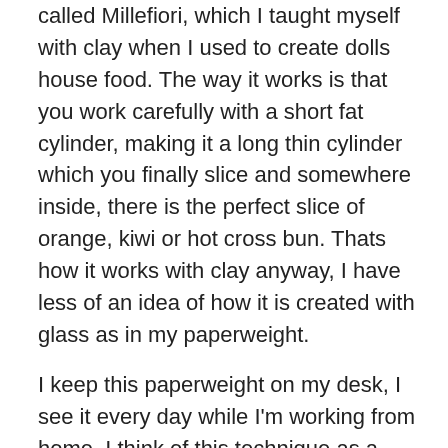called Millefiori, which I taught myself with clay when I used to create dolls house food. The way it works is that you work carefully with a short fat cylinder, making it a long thin cylinder which you finally slice and somewhere inside, there is the perfect slice of orange, kiwi or hot cross bun. Thats how it works with clay anyway, I have less of an idea of how it is created with glass as in my paperweight.
I keep this paperweight on my desk, I see it every day while I'm working from home. I think of this technique as a metaphor for how art practice develops and therefore it helps me both in my art practice and my teaching practice.
As an artist, when you are developing ideas, you have all your thoughts, sketches and ideas rolled up within your fat cylinder of clay, then you carefully and thoughtfully work